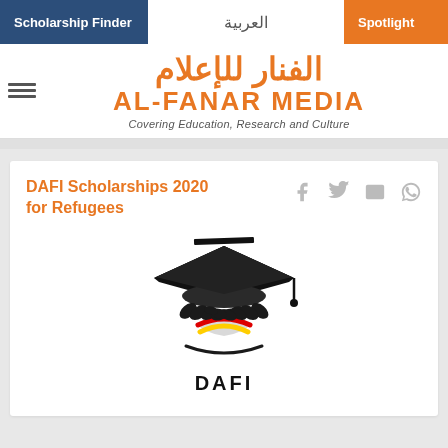Scholarship Finder | العربية | Spotlight
الفنار للإعلام AL-FANAR MEDIA Covering Education, Research and Culture
DAFI Scholarships 2020 for Refugees
[Figure (logo): DAFI scholarship program logo: graduation cap above two olive/laurel branches with a German flag colored swoosh, with text DAFI below]